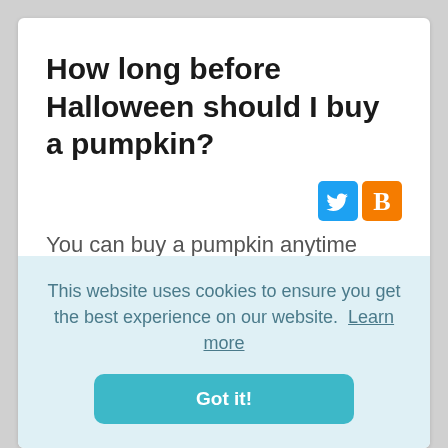How long before Halloween should I buy a pumpkin?
[Figure (other): Twitter and Blogger social share icons]
You can buy a pumpkin anytime throughout October- knock yourself out! Once you carve them, they will not last as long...once your pumpkin is transformed into your Halloween
This website uses cookies to ensure you get the best experience on our website.  Learn more
Got it!